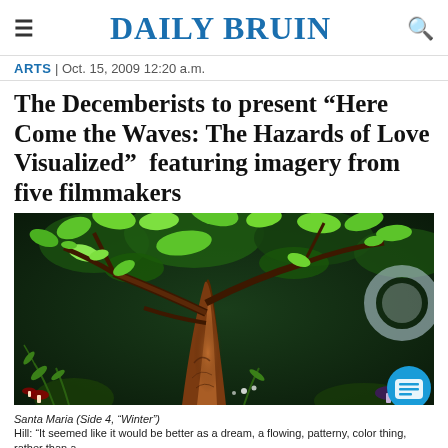DAILY BRUIN
ARTS | Oct. 15, 2009 12:20 a.m.
The Decemberists to present “Here Come the Waves: The Hazards of Love Visualized”â featuring imagery from five filmmakers
[Figure (photo): Animated forest illustration showing a glowing tree trunk surrounded by lush green leaves, ferns, mushrooms, and fantastical plants in a dark, stylized woodland setting. A circular light element appears in the upper right.]
Santa Maria (Side 4, “Winter”)
Hill: “It seemed like it would be better as a dream, a flowing, patterny, color thing, rather than a